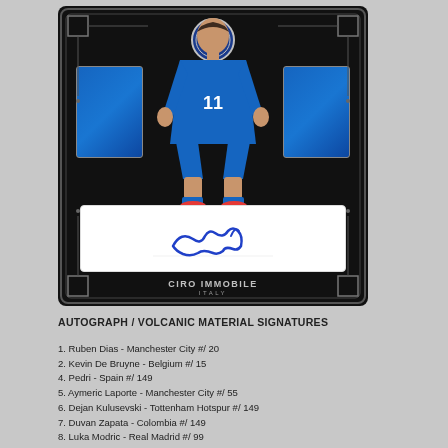[Figure (photo): Trading card for Ciro Immobile - Italy, Matrix series autograph and volcanic material signature card with blue jersey swatch and blue ink signature on black card background]
AUTOGRAPH / VOLCANIC MATERIAL SIGNATURES
1. Ruben Dias - Manchester City #/ 20
2. Kevin De Bruyne - Belgium #/ 15
4. Pedri - Spain #/ 149
5. Aymeric Laporte - Manchester City #/ 55
6. Dejan Kulusevski - Tottenham Hotspur #/ 149
7. Duvan Zapata - Colombia #/ 149
8. Luka Modric - Real Madrid #/ 99
9. Raul Jimenez - Wolverhampton Wanderers #/ 1
11. Toni Kroos - Real Madrid #/ 149
12. Marc Andre ter Stegen - Germany #/ 85